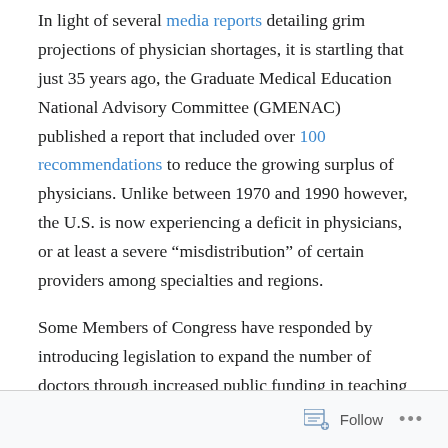In light of several media reports detailing grim projections of physician shortages, it is startling that just 35 years ago, the Graduate Medical Education National Advisory Committee (GMENAC) published a report that included over 100 recommendations to reduce the growing surplus of physicians. Unlike between 1970 and 1990 however, the U.S. is now experiencing a deficit in physicians, or at least a severe “misdistribution” of certain providers among specialties and regions.
Some Members of Congress have responded by introducing legislation to expand the number of doctors through increased public funding in teaching hospitals. However, given the current structure of the reimbursement system, serious overhaul regarding how taxpayer dollars
Follow ...